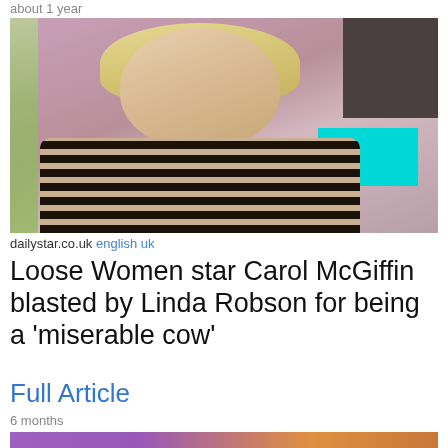about 1 year
[Figure (photo): Woman with blonde shoulder-length hair wearing a black and beige striped turtleneck sweater, seated in what appears to be a TV studio with pink/purple background and a cyan panel visible]
dailystar.co.uk english uk
Loose Women star Carol McGiffin blasted by Linda Robson for being a 'miserable cow'
Full Article
6 months